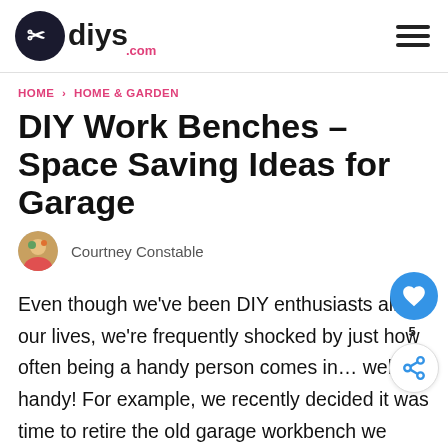diys.com
HOME > HOME & GARDEN
DIY Work Benches – Space Saving Ideas for Garage
Courtney Constable
Even though we've been DIY enthusiasts all our lives, we're frequently shocked by just how often being a handy person comes in… well, handy! For example, we recently decided it was time to retire the old garage workbench we inherited